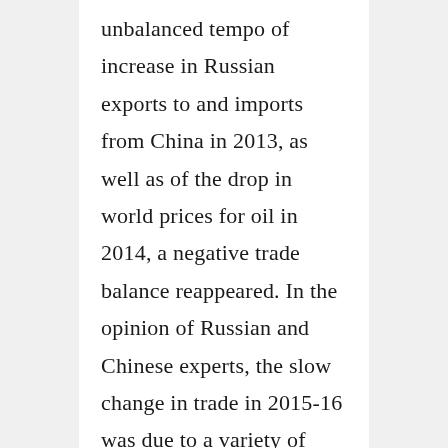unbalanced tempo of increase in Russian exports to and imports from China in 2013, as well as of the drop in world prices for oil in 2014, a negative trade balance reappeared. In the opinion of Russian and Chinese experts, the slow change in trade in 2015-16 was due to a variety of objective factors, which first appeared in 2014, and